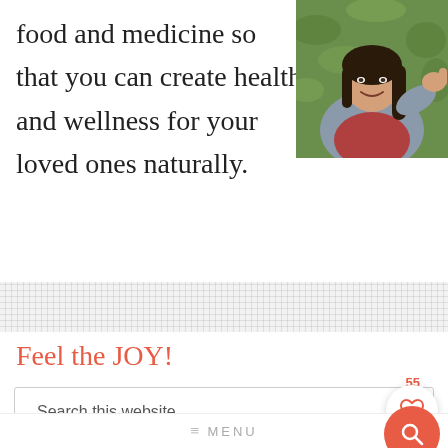food and medicine so that you can create health and wellness for your loved ones naturally.
[Figure (photo): Woman smiling with thumbs up outdoors among green foliage, wearing a grey cardigan and red top.]
Feel the JOY!
[Figure (screenshot): Search bar with text 'Search this website', a heart icon badge showing 55, and a coral/red circular search button below.]
≡ MENU